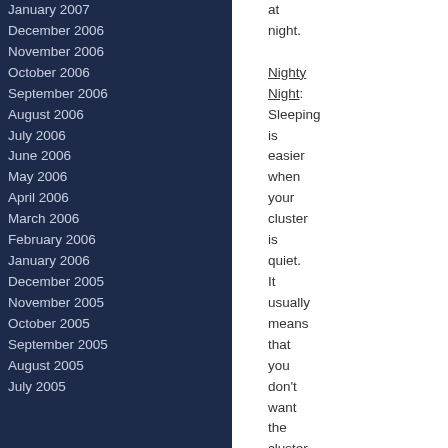January 2007
December 2006
November 2006
October 2006
September 2006
August 2006
July 2006
June 2006
May 2006
April 2006
March 2006
February 2006
January 2006
December 2005
November 2005
October 2005
September 2005
August 2005
July 2005
at night.

Nighty Night: Sleeping is easier when your cluster is quiet. It usually means that you don't want the cluster to suddenly failover during night time, or – for